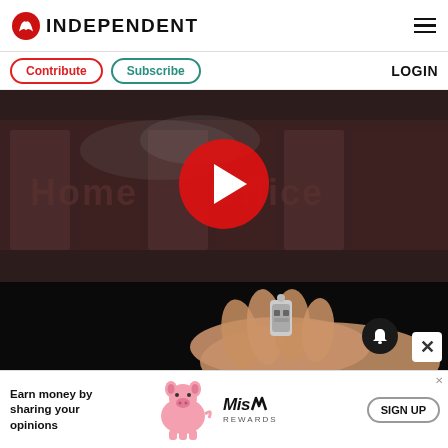INDEPENDENT
Contribute  Subscribe  LOGIN
[Figure (screenshot): Home Office building sign with video play button overlay — a red circle with white triangle play icon centered on a dark image of the Home Office sign]
[Figure (photo): Hand holding a small metallic vape/e-cigarette device component against dark background, with notification bell icon and close button]
[Figure (infographic): Advertisement banner: 'Earn money by sharing your opinions' with Miss Rewards branding, pink pig illustration, and SIGN UP button]